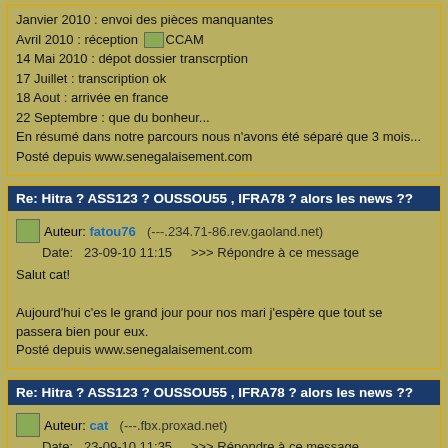Janvier 2010 : envoi des pièces manquantes
Avril 2010 : réception CCAM
14 Mai 2010 : dépot dossier transcrption
17 Juillet : transcription ok
18 Aout : arrivée en france
22 Septembre : que du bonheur...
En résumé dans notre parcours nous n'avons été séparé que 3 mois...
Posté depuis www.senegalaisement.com
Re: Hitra ? ASS123 ? OUSSOU55 , IFRA78 ? alors les news ??
Auteur: fatou76   (---.234.71-86.rev.gaoland.net)
Date:   23-09-10 11:15   >>> Répondre à ce message

Salut cat!

Aujourd'hui c'es le grand jour pour nos mari j'espère que tout se passera bien pour eux.
Posté depuis www.senegalaisement.com
Re: Hitra ? ASS123 ? OUSSOU55 , IFRA78 ? alors les news ??
Auteur: cat   (---.fbx.proxad.net)
Date:   23-09-10 11:35   >>> Répondre à ce message

Slt juju74, donc mon mari aura les résultats en principe jeudi 30/9. ça fait trèèèès juste si il dit qu'il part le 01/10 si il dit le 8/10, ils le feront revenir quelques jours avant le 8!!!

Fatou76, ça fait 1h30 qu'il est à l'ofii, je commence à trépigner d'impatience